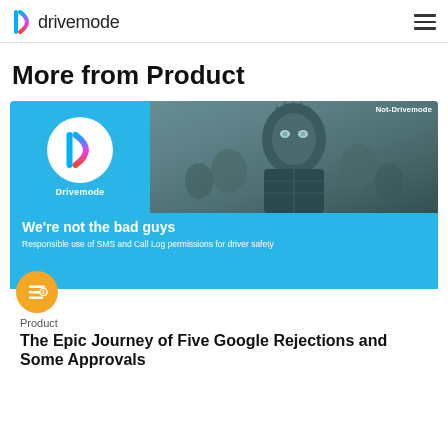drivemode
More from Product
[Figure (illustration): Drivemode blog card image: blue background with Drivemode logo circle on left and a dark fantasy character (Night King) portrait on right. Text overlay reads 'We're not the bad guys' and 'Responsible use of SMS and Call Log permissions for driver safety'. Label 'Not-Drivemode' in top right. Yellow avatar circle with filter icon at bottom left.]
Product
The Epic Journey of Five Google Rejections and Some Approvals